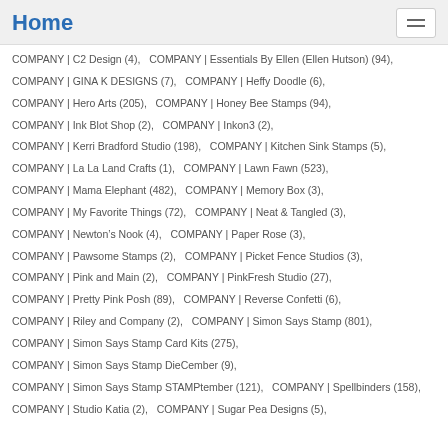Home
COMPANY | C2 Design (4),   COMPANY | Essentials By Ellen (Ellen Hutson) (94),
COMPANY | GINA K DESIGNS (7),   COMPANY | Heffy Doodle (6),
COMPANY | Hero Arts (205),   COMPANY | Honey Bee Stamps (94),
COMPANY | Ink Blot Shop (2),   COMPANY | Inkon3 (2),
COMPANY | Kerri Bradford Studio (198),   COMPANY | Kitchen Sink Stamps (5),
COMPANY | La La Land Crafts (1),   COMPANY | Lawn Fawn (523),
COMPANY | Mama Elephant (482),   COMPANY | Memory Box (3),
COMPANY | My Favorite Things (72),   COMPANY | Neat & Tangled (3),
COMPANY | Newton's Nook (4),   COMPANY | Paper Rose (3),
COMPANY | Pawsome Stamps (2),   COMPANY | Picket Fence Studios (3),
COMPANY | Pink and Main (2),   COMPANY | PinkFresh Studio (27),
COMPANY | Pretty Pink Posh (89),   COMPANY | Reverse Confetti (6),
COMPANY | Riley and Company (2),   COMPANY | Simon Says Stamp (801),
COMPANY | Simon Says Stamp Card Kits (275),
COMPANY | Simon Says Stamp DieCember (9),
COMPANY | Simon Says Stamp STAMPtember (121),   COMPANY | Spellbinders (158),
COMPANY | Studio Katia (2),   COMPANY | Sugar Pea Designs (5),